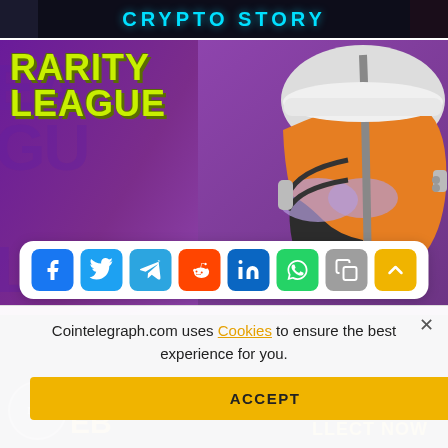[Figure (screenshot): Top banner with 'CRYPTO STORY' text in cyan on dark background]
[Figure (illustration): Rarity League NFT promotional image with yellow-green graffiti text 'RARITY LEAGUE' on purple background, with a 3D rendered orange and white football helmet with sunglasses]
[Figure (infographic): Social media share bar with icons: Facebook (blue), Twitter (cyan), Telegram (blue), Reddit (orange-red), LinkedIn (blue), WhatsApp (green), Copy (gray), Scroll-up (yellow)]
Cointelegraph.com uses Cookies to ensure the best experience for you.
ACCEPT